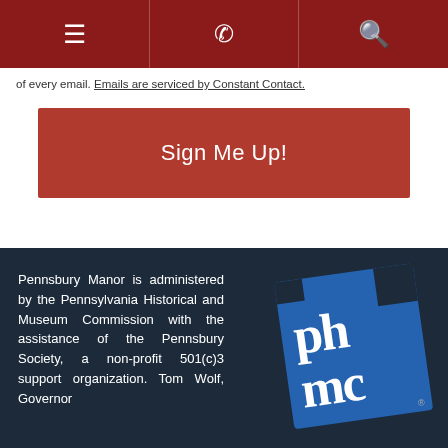☰ [phone icon] [search icon]
of every email. Emails are serviced by Constant Contact.
Sign Me Up!
Pennsbury Manor is administered by the Pennsylvania Historical and Museum Commission with the assistance of the Pennsbury Society, a non-profit 501(c)3 support organization. Tom Wolf, Governor
[Figure (logo): PHMC (Pennsylvania Historical and Museum Commission) blue logo with Pennsylvania state shape cutout and letters PH MC in white on blue background]